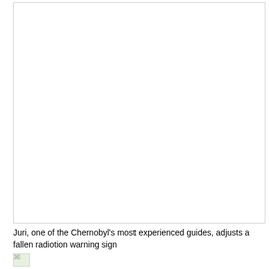[Figure (photo): Large photograph area — mostly white/blank, representing a photo of Juri, one of Chernobyl's most experienced guides, adjusting a fallen radiation warning sign]
Juri, one of the Chernobyl's most experienced guides, adjusts a fallen radiotion warning sign
[Figure (photo): Small thumbnail image with broken/loading indicator, showing a green and white icon]